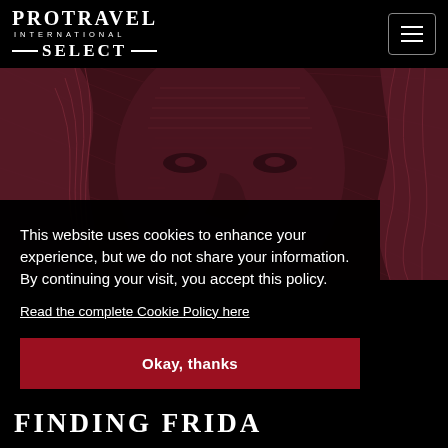[Figure (logo): Protravel International Select logo — white text on black background with horizontal lines flanking SELECT]
[Figure (photo): Close-up engraving-style illustration of a woman's face in dark red/maroon tones, highly detailed crosshatching style]
This website uses cookies to enhance your experience, but we do not share your information. By continuing your visit, you accept this policy.
Read the complete Cookie Policy here
Okay, thanks
FINDING FRIDA